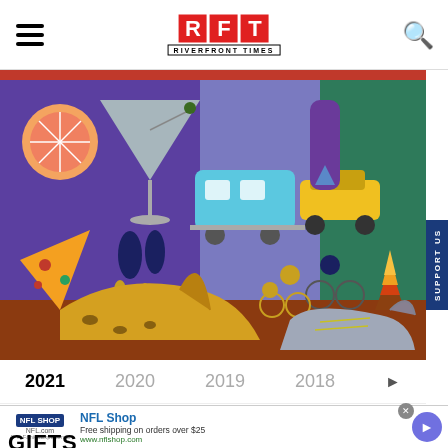RFT RIVERFRONT TIMES
[Figure (illustration): Colorful illustrated collage featuring lifestyle icons: a martini with grapefruit, pizza slice, dancing couple silhouettes, a leopard-print high heel shoe, a travel trailer, a yellow car on road, cyclists on mountain bikes, a campfire scene, and a water droplet on a purple background. Covers topics: food & drink, nightlife, travel, outdoors.]
2021  2020  2019  2018  ▶
NFL Shop
Free shipping on orders over $25
www.nflshop.com
GIFTS